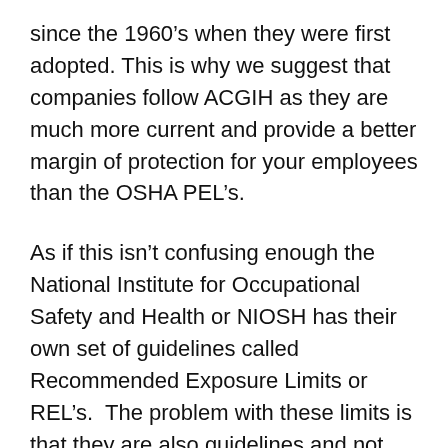since the 1960’s when they were first adopted. This is why we suggest that companies follow ACGIH as they are much more current and provide a better margin of protection for your employees than the OSHA PEL’s.
As if this isn’t confusing enough the National Institute for Occupational Safety and Health or NIOSH has their own set of guidelines called Recommended Exposure Limits or REL’s. The problem with these limits is that they are also guidelines and not regulations and, it is our opinion, that they are based on the concept of “no negative effect” from exposure. This means that eye irritation by a chemical can end up with a lower exposure guideline than it might have